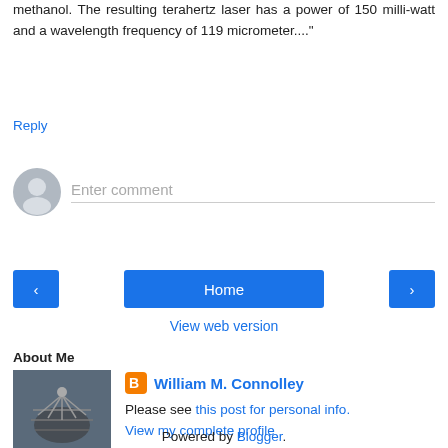methanol. The resulting terahertz laser has a power of 150 milli-watt and a wavelength frequency of 119 micrometer...."
Reply
[Figure (other): User avatar placeholder icon (grey silhouette) and comment input field with placeholder text 'Enter comment']
[Figure (other): Navigation buttons: left arrow button, Home button, right arrow button]
View web version
About Me
[Figure (photo): Photo of rowing crew on water, aerial view]
William M. Connolley
Please see this post for personal info.
View my complete profile
Powered by Blogger.